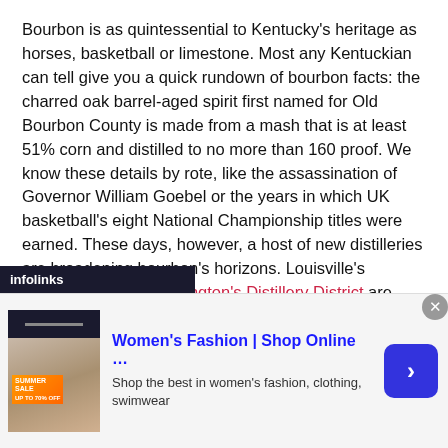Bourbon is as quintessential to Kentucky's heritage as horses, basketball or limestone. Most any Kentuckian can tell give you a quick rundown of bourbon facts: the charred oak barrel-aged spirit first named for Old Bourbon County is made from a mash that is at least 51% corn and distilled to no more than 160 proof. We know these details by rote, like the assassination of Governor William Goebel or the years in which UK basketball's eight National Championship titles were earned. These days, however, a host of new distilleries are broadening bourbon's horizons. Louisville's Whiskey Row and Lexington's Distillery District are bringing bourbon to the forefront of Kentucky's nightlife.  From Maysville to Marshall County, small batch distilleries are creating both exciting new whiskey flavors and new opportunities for Kentucky's bourbon industry.
[Figure (screenshot): Infolinks advertisement banner showing Women's Fashion Shop Online with a fashion image, blue arrow button, and close button]